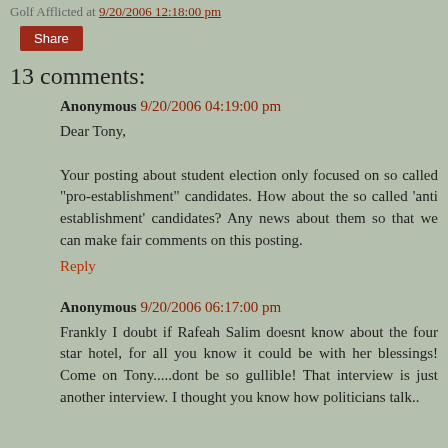Golf Afflicted at 9/20/2006 12:18:00 pm
Share
13 comments:
Anonymous 9/20/2006 04:19:00 pm
Dear Tony,

Your posting about student election only focused on so called "pro-establishment" candidates. How about the so called 'anti establishment' candidates? Any news about them so that we can make fair comments on this posting.
Reply
Anonymous 9/20/2006 06:17:00 pm
Frankly I doubt if Rafeah Salim doesnt know about the four star hotel, for all you know it could be with her blessings! Come on Tony.....dont be so gullible! That interview is just another interview. I thought you know how politicians talk..